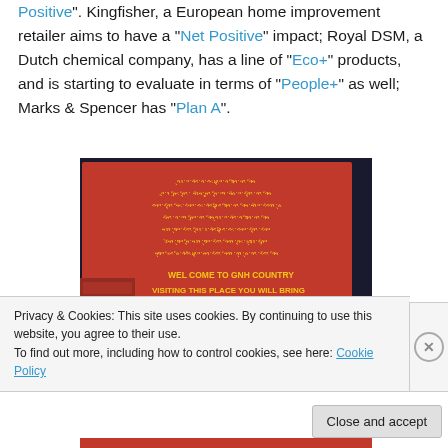Positive". Kingfisher, a European home improvement retailer aims to have a "Net Positive" impact; Royal DSM, a Dutch chemical company, has a line of "Eco+" products, and is starting to evaluate in terms of "People+" as well; Marks & Spencer has "Plan A".
[Figure (photo): Photo of a red sign with gold/yellow text in Tibetan script and English reading: 'WELCOME TO GNH COUNTRY. VISITING THIS PLACE YOU WILL BRING PEACE AND PROSPERITY IF YOU VISIT TSHOGYE. THARA THERE IS AMAZING PLACE. THANKS'. Some other red sign items visible in the lower left.]
Privacy & Cookies: This site uses cookies. By continuing to use this website, you agree to their use.
To find out more, including how to control cookies, see here: Cookie Policy